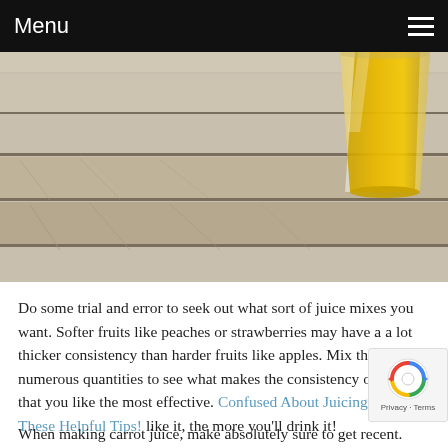Menu
[Figure (photo): A glass of orange juice sitting on a wooden slatted table, viewed from table level. The wood has a weathered light grey-brown tone. The glass contains bright orange juice and is visible in the upper right of the image.]
Do some trial and error to seek out what sort of juice mixes you want. Softer fruits like peaches or strawberries may have a a lot thicker consistency than harder fruits like apples. Mix them up in numerous quantities to see what makes the consistency of drink that you like the most effective. Confused About Juicing? Read These Helpful Tips! like it, the more you'll drink it!
When making carrot juice, make absolutely sure to get recent.